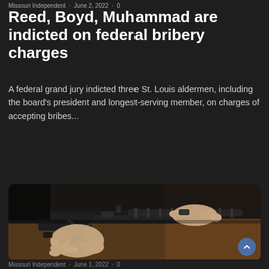Missouri Independent · June 2, 2022 · 0
Reed, Boyd, Muhammad are indicted on federal bribery charges
A federal grand jury indicted three St. Louis aldermen, including the board's president and longest-serving member, on charges of accepting bribes...
Read More »
[Figure (photo): Close-up photo of a person's hands holding a black AR-style semi-automatic rifle, showing the grip, trigger area, and barrel with handguard. Background shows a blurred indoor setting with warm tones.]
Missouri Independent · June 1, 2022 · 0